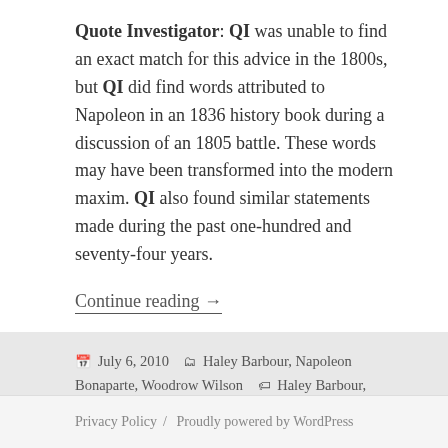Quote Investigator: QI was unable to find an exact match for this advice in the 1800s, but QI did find words attributed to Napoleon in an 1836 history book during a discussion of an 1805 battle. These words may have been transformed into the modern maxim. QI also found similar statements made during the past one-hundred and seventy-four years.
Continue reading →
July 6, 2010   Haley Barbour, Napoleon Bonaparte, Woodrow Wilson   Haley Barbour, Napoleon Bonaparte, Woodrow Wilson
Privacy Policy / Proudly powered by WordPress